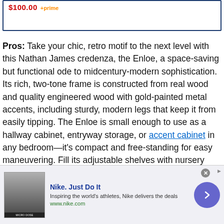$100.00 +prime
Pros: Take your chic, retro motif to the next level with this Nathan James credenza, the Enloe, a space-saving but functional ode to midcentury-modern sophistication. Its rich, two-tone frame is constructed from real wood and quality engineered wood with gold-painted metal accents, including sturdy, modern legs that keep it from easily tipping. The Enloe is small enough to use as a hallway cabinet, entryway storage, or accent cabinet in any bedroom—it's compact and free-standing for easy maneuvering. Fill its adjustable shelves with nursery
[Figure (screenshot): Nike advertisement banner at the bottom of the page showing Nike logo thumbnail, text 'Nike. Just Do It', tagline 'Inspiring the world's athletes, Nike delivers the deals', URL www.nike.com, a circular purple arrow button, and a close X button]